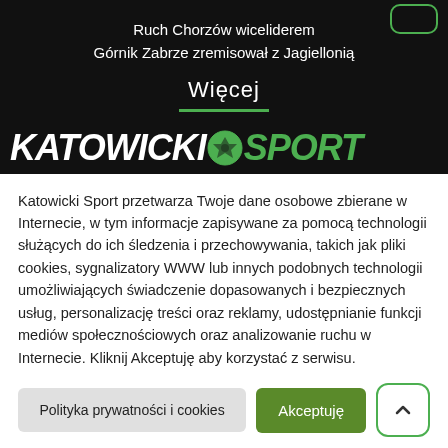Ruch Chorzów wiceliderem
Górnik Zabrze zremisował z Jagiellonią
Więcej
[Figure (logo): KATOWICKI SPORT logo in white and green bold italic text with a soccer ball icon]
Katowicki Sport przetwarza Twoje dane osobowe zbierane w Internecie, w tym informacje zapisywane za pomocą technologii służących do ich śledzenia i przechowywania, takich jak pliki cookies, sygnalizatory WWW lub innych podobnych technologii umożliwiających świadczenie dopasowanych i bezpiecznych usług, personalizację treści oraz reklamy, udostępnianie funkcji mediów społecznościowych oraz analizowanie ruchu w Internecie. Kliknij Akceptuję aby korzystać z serwisu.
Polityka prywatności i cookies
Akceptuję